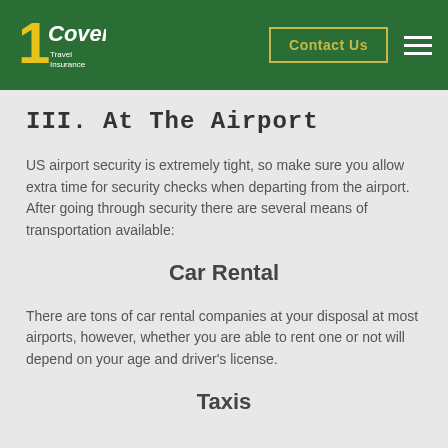1Cover Travel Insurance — Contact Us
III. At The Airport
US airport security is extremely tight, so make sure you allow extra time for security checks when departing from the airport. After going through security there are several means of transportation available:
Car Rental
There are tons of car rental companies at your disposal at most airports, however, whether you are able to rent one or not will depend on your age and driver's license.
Taxis